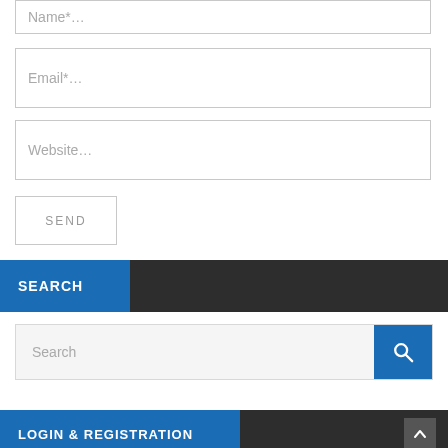Name*…
Email*…
Website…
SEND
SEARCH
Search
LOGIN & REGISTRATION